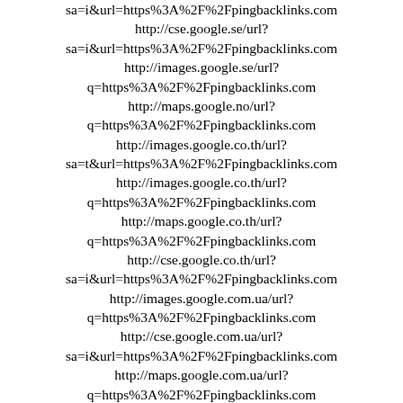sa=i&url=https%3A%2F%2Fpingbacklinks.com
http://cse.google.se/url?
sa=i&url=https%3A%2F%2Fpingbacklinks.com
http://images.google.se/url?
q=https%3A%2F%2Fpingbacklinks.com
http://maps.google.no/url?
q=https%3A%2F%2Fpingbacklinks.com
http://images.google.co.th/url?
sa=t&url=https%3A%2F%2Fpingbacklinks.com
http://images.google.co.th/url?
q=https%3A%2F%2Fpingbacklinks.com
http://maps.google.co.th/url?
q=https%3A%2F%2Fpingbacklinks.com
http://cse.google.co.th/url?
sa=i&url=https%3A%2F%2Fpingbacklinks.com
http://images.google.com.ua/url?
q=https%3A%2F%2Fpingbacklinks.com
http://cse.google.com.ua/url?
sa=i&url=https%3A%2F%2Fpingbacklinks.com
http://maps.google.com.ua/url?
q=https%3A%2F%2Fpingbacklinks.com
http://maps.google.com.tr/url?
q=https%3A%2F%2Fpingbacklinks.com
http://cse.google.com.tr/url?
sa=i&url=https%3A%2F%2Fpingbacklinks.com